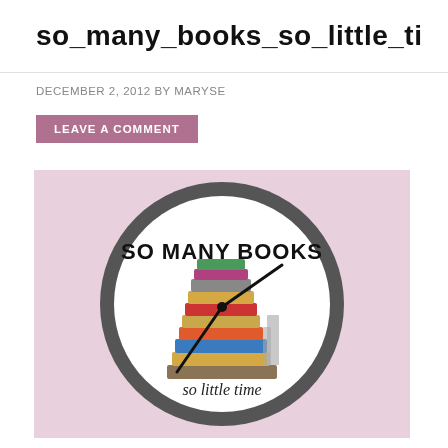so_many_books_so_little_ti
DECEMBER 2, 2012 BY MARYSE
LEAVE A COMMENT
[Figure (illustration): A wall clock with a stack of colorful books illustration in the center. The clock face reads 'SO MANY BOOKS' at the top in bold black text and 'so little time' at the bottom in cursive. Clock hands are black. The clock has a dark gray/charcoal rim. The background behind the clock is a light pink/mauve color.]